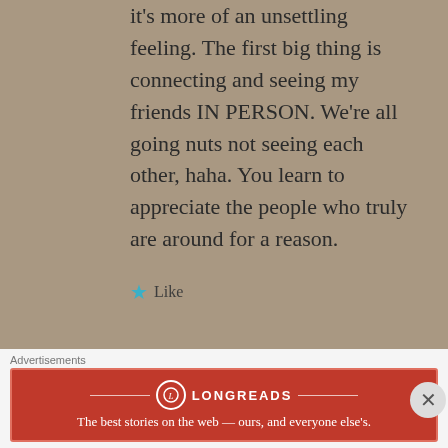it's more of an unsettling feeling. The first big thing is connecting and seeing my friends IN PERSON. We're all going nuts not seeing each other, haha. You learn to appreciate the people who truly are around for a reason.
★ Like
VITAMINC-GREENTEA says: Reply
05/14/2020 at 12:54 am
yes I totally understand how you're feeling. I'm dying to start seeing
Advertisements
[Figure (logo): Longreads advertisement banner: red background with Longreads logo and text 'The best stories on the web — ours, and everyone else's.']